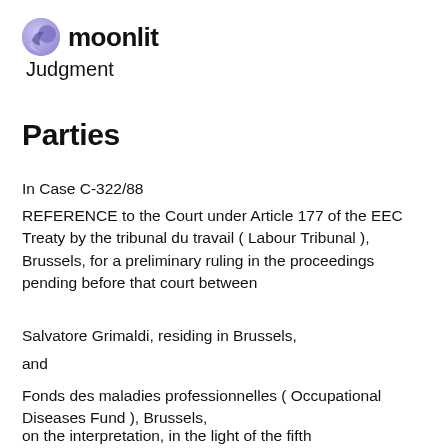moonlit Judgment
Parties
In Case C-322/88
REFERENCE to the Court under Article 177 of the EEC Treaty by the tribunal du travail ( Labour Tribunal ), Brussels, for a preliminary ruling in the proceedings pending before that court between
Salvatore Grimaldi, residing in Brussels,
and
Fonds des maladies professionnelles ( Occupational Diseases Fund ), Brussels,
on the interpretation, in the light of the fifth paragraph of Article 189 of the EEC Treaty of